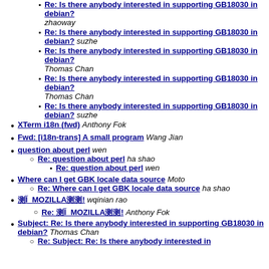Re: Is there anybody interested in supporting GB18030 in debian? zhaoway
Re: Is there anybody interested in supporting GB18030 in debian? suzhe
Re: Is there anybody interested in supporting GB18030 in debian? Thomas Chan
Re: Is there anybody interested in supporting GB18030 in debian? Thomas Chan
Re: Is there anybody interested in supporting GB18030 in debian? suzhe
XTerm i18n (fwd) Anthony Fok
Fwd: [i18n-trans] A small program Wang Jian
question about perl wen
Re: question about perl ha shao
Re: question about perl wen
Where can I get GBK locale data source Moto
Re: Where can I get GBK locale data source ha shao
測 MOZILLA測測! wqinian rao
Re: 測 MOZILLA測測! Anthony Fok
Subject: Re: Is there anybody interested in supporting GB18030 in debian? Thomas Chan
Re: Subject: Re: Is there anybody interested in